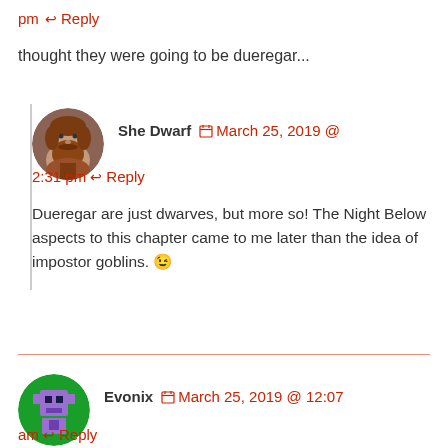pm ↩ Reply
thought they were going to be dueregar...
She Dwarf  📅 March 25, 2019 @ 2:31 pm  ↩ Reply
Dueregar are just dwarves, but more so! The Night Below aspects to this chapter came to me later than the idea of impostor goblins. 😉
Evonix  📅 March 25, 2019 @ 12:07 am  ↩ Reply